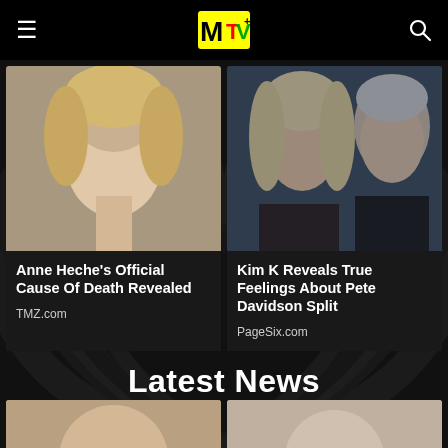MTV
[Figure (photo): Anne Heche close-up portrait photo, blonde hair, smiling]
Anne Heche's Official Cause Of Death Revealed
TMZ.com
[Figure (photo): Kim Kardashian and Pete Davidson side by side portrait photo]
Kim K Reveals True Feelings About Pete Davidson Split
PageSix.com
Latest News
[Figure (photo): Thumbnail photo bottom left, partially visible]
[Figure (photo): Thumbnail photo bottom right, partially visible]